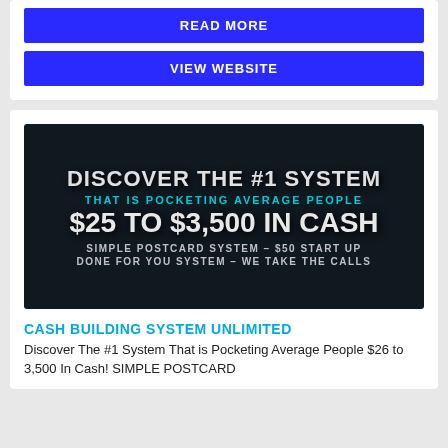READ MORE
VIEW WEBSITE
[Figure (infographic): Dark banner ad: 'DISCOVER THE #1 SYSTEM THAT IS POCKETING AVERAGE PEOPLE $25 TO $3,500 IN CASH SIMPLE POSTCARD SYSTEM - $50 START UP DONE FOR YOU SYSTEM - WE TAKE THE CALLS']
CASH BUILDING SYSTEM UNLIMITED
Discover The #1 System That is Pocketing Average People $26 to 3,500 In Cash! SIMPLE POSTCARD